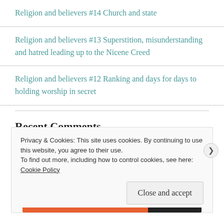Religion and believers #14 Church and state
Religion and believers #13 Superstition, misunderstanding and hatred leading up to the Nicene Creed
Religion and believers #12 Ranking and days for days to holding worship in secret
Recent Comments
Privacy & Cookies: This site uses cookies. By continuing to use this website, you agree to their use.
To find out more, including how to control cookies, see here: Cookie Policy
Close and accept